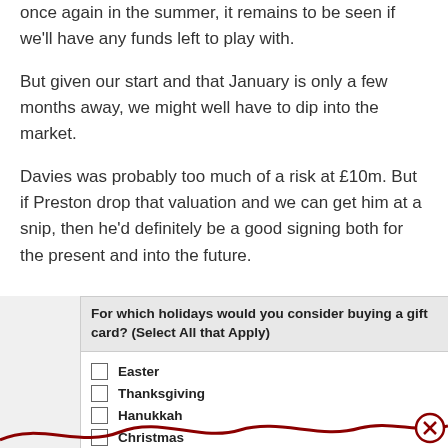once again in the summer, it remains to be seen if we'll have any funds left to play with.
But given our start and that January is only a few months away, we might well have to dip into the market.
Davies was probably too much of a risk at £10m. But if Preston drop that valuation and we can get him at a snip, then he'd definitely be a good signing both for the present and into the future.
| For which holidays would you consider buying a gift card? (Select All that Apply) |
| --- |
| Easter |
| Thanksgiving |
| Hanukkah |
| Christmas |